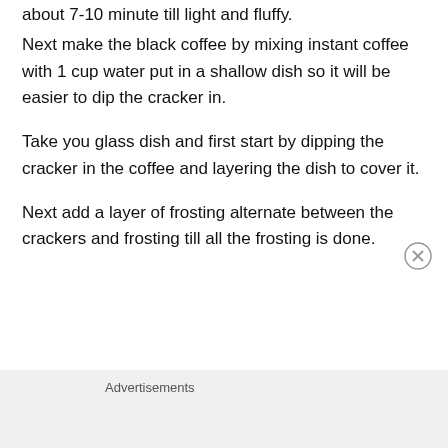about 7-10 minute till light and fluffy.
Next make the black coffee by mixing instant coffee with 1 cup water put in a shallow dish so it will be easier to dip the cracker in.
Take you glass dish and first start by dipping the cracker in the coffee and layering the dish to cover it.
Next add a layer of frosting alternate between the crackers and frosting till all the frosting is done.
Advertisements